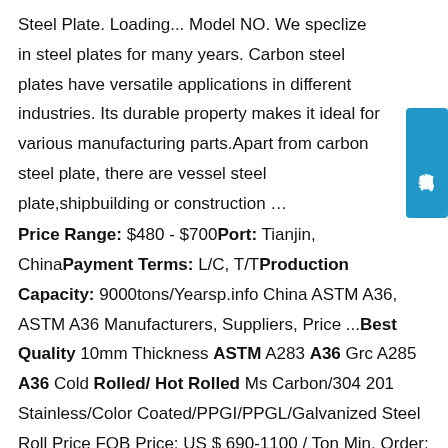Steel Plate. Loading... Model NO. We speclize in steel plates for many years. Carbon steel plates have versatile applications in different industries. Its durable property makes it ideal for various manufacturing parts.Apart from carbon steel plate, there are vessel steel plate,shipbuilding or construction …
Price Range: $480 - $700 Port: Tianjin, China Payment Terms: L/C, T/T Production Capacity: 9000tons/Year sp.info China ASTM A36, ASTM A36 Manufacturers, Suppliers, Price ...Best Quality 10mm Thickness ASTM A283 A36 Grc A285 A36 Cold Rolled/ Hot Rolled Ms Carbon/304 201 Stainless/Color Coated/PPGI/PPGL/Galvanized Steel Roll Price FOB Price: US $ 690-1100 / Ton Min. Order: 10 Tonssp.info [Hot Item] Best Quality 10mm Thickness ASTM A283 A36 Grc ...Sep 12, 2021 · Best Quality 10mm Thickness ASTM A283 A36 Grc A285 Grade C ASTM A36